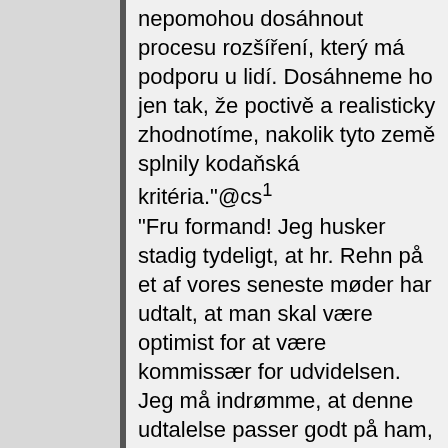nepomohou dosáhnout procesu rozšíření, který má podporu u lidí. Dosáhneme ho jen tak, že poctivě a realisticky zhodnotíme, nakolik tyto země splnily kodaňská kritéria."@cs¹ "Fru formand! Jeg husker stadig tydeligt, at hr. Rehn på et af vores seneste møder har udtalt, at man skal være optimist for at være kommissær for udvidelsen. Jeg må indrømme, at denne udtalelse passer godt på ham, men en optimistisk indstilling hører efter min opfattelse ikke sammen med rollen som kommissær for udvidelsen. Min personlige opfattelse er, at en optimistisk indstilling bør være sekundær i forhold til en realistisk indstilling inden for politik, herunder europæisk politik. Det er ganske enkelt chokerende, at Parlamentet har accepteret denne rosenrøde indstilling. Hvorfor var det